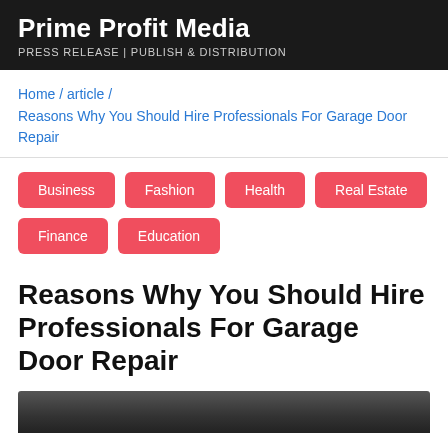Prime Profit Media
PRESS RELEASE | PUBLISH & DISTRIBUTION
Home / article / Reasons Why You Should Hire Professionals For Garage Door Repair
Business
Fashion
Health
Real Estate
Finance
Education
Reasons Why You Should Hire Professionals For Garage Door Repair
[Figure (photo): Bottom edge of a dark photo relating to garage door repair]